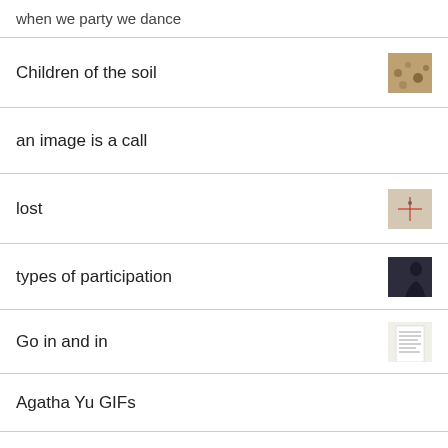when we party we dance
Children of the soil
an image is a call
lost
types of participation
Go in and in
Agatha Yu GIFs
one of a crowd